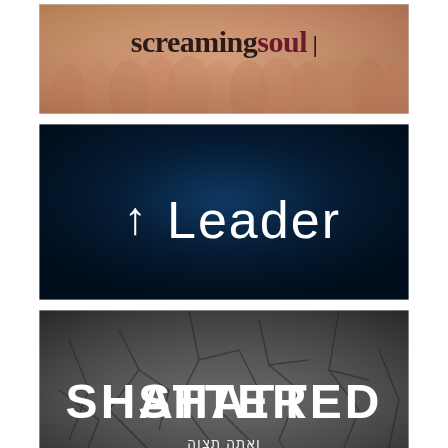[Figure (illustration): Book cover or album art titled 'screaming soul' with wheat field background in warm golden/pink tones. Text shows 'screaming' in dark serif font and 'soul' in dark maroon/burgundy serif font with a vertical bar character.]
[Figure (illustration): Book cover or album art titled 'Leader' on a dark navy/black textured background with blue spotlight effect. An upward arrow precedes the word 'Leader' in white sans-serif font.]
[Figure (illustration): Book cover or album art titled 'SHATTERED' on a cracked gray earth/ground texture background. Bold distressed white military-style font. Hebrew text below reads 'ואתה תצוה'.]
[Figure (illustration): Partially visible book cover or album art at bottom with red background, content cut off.]